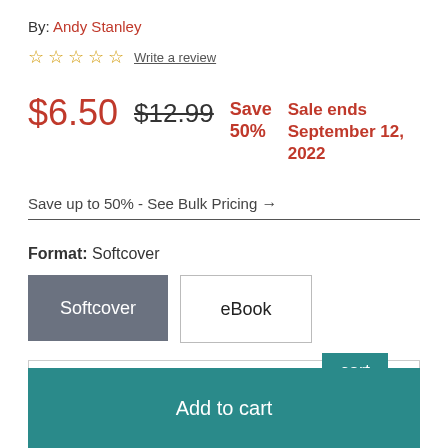By: Andy Stanley
☆ ☆ ☆ ☆ ☆ Write a review
$6.50  $12.99  Save 50%  Sale ends September 12, 2022
Save up to 50% - See Bulk Pricing →
Format: Softcover
Softcover | eBook
- 1 +
Add to cart